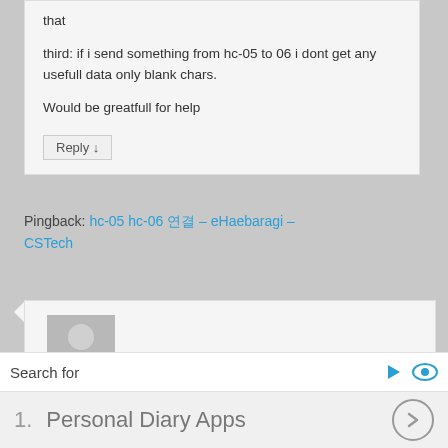that
third: if i send something from hc-05 to 06 i dont get any usefull data only blank chars.

Would be greatfull for help
Reply ↓
Pingback: hc-05 hc-06 연결 – eHaebaragi – CSTech
[Figure (photo): User avatar placeholder - grey silhouette of a person on grey background]
smile on November 2, 2018 at 10:47 pm said:
Search for
1.  Personal Diary Apps